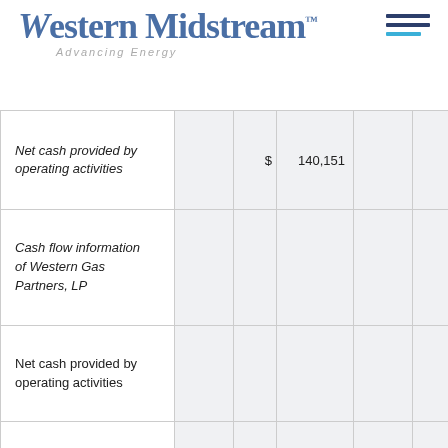Western Midstream™ — Advancing Energy
| Description | Col1 | Col2 | Col3 | Col4 | Col5 |
| --- | --- | --- | --- | --- | --- |
| Net cash provided by operating activities |  | $ | 140,151 |  | $ |
| Cash flow information of Western Gas Partners, LP |  |  |  |  |  |
| Net cash provided by operating activities |  |  |  |  |  |
| Net cash used in investing activities |  |  |  |  |  |
| Net cash provided by financing activities |  |  |  |  |  |
|  |  |  |  |  |  |